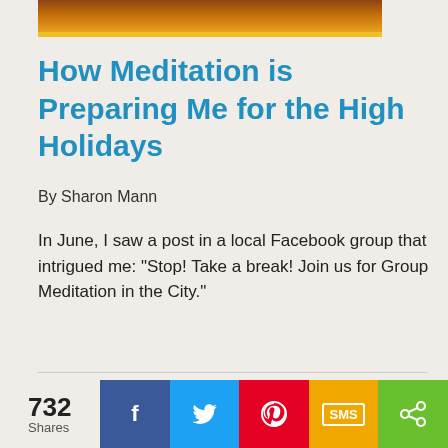[Figure (photo): Partial top image with dark warm tones, appears to be a decorative header photo with a gold bar accent at the bottom]
How Meditation is Preparing Me for the High Holidays
By Sharon Mann
In June, I saw a post in a local Facebook group that intrigued me: "Stop! Take a break! Join us for Group Meditation in the City."
[Figure (photo): Photo of a decorative metal goblet/chalice with purple and gold background tones, partially cropped]
732 Shares | Facebook | Twitter | Pinterest | SMS | Share